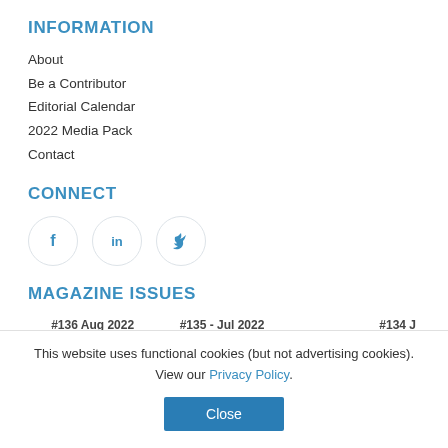INFORMATION
About
Be a Contributor
Editorial Calendar
2022 Media Pack
Contact
CONNECT
[Figure (infographic): Three social media icons in circles: Facebook (f), LinkedIn (in), Twitter (bird)]
MAGAZINE ISSUES
#136 Aug 2022   #135 - Jul 2022   #134 J
This website uses functional cookies (but not advertising cookies). View our Privacy Policy.
Close